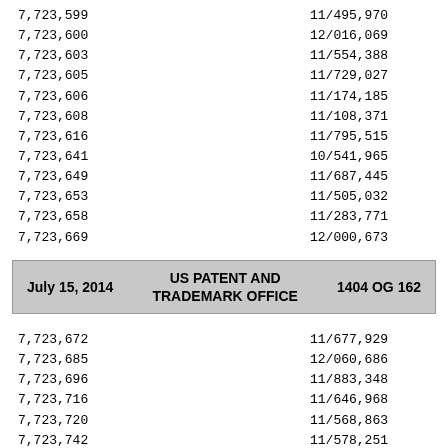| Patent Number | Application Number |
| --- | --- |
| 7,723,599 | 11/495,970 |
| 7,723,600 | 12/016,069 |
| 7,723,603 | 11/554,388 |
| 7,723,605 | 11/729,027 |
| 7,723,606 | 11/174,185 |
| 7,723,608 | 11/108,371 |
| 7,723,616 | 11/795,515 |
| 7,723,641 | 10/541,965 |
| 7,723,649 | 11/687,445 |
| 7,723,653 | 11/505,032 |
| 7,723,658 | 11/283,771 |
| 7,723,669 | 12/000,673 |
July 15, 2014   US PATENT AND TRADEMARK OFFICE   1404 OG 162
| Patent Number | Application Number |
| --- | --- |
| 7,723,672 | 11/677,929 |
| 7,723,685 | 12/060,686 |
| 7,723,696 | 11/883,348 |
| 7,723,716 | 11/646,968 |
| 7,723,720 | 11/568,863 |
| 7,723,742 | 11/578,251 |
| 7,723,750 | 11/774,221 |
| 7,723,768 | 11/130,642 |
| 7,723,769 | 11/566,059 |
| 7,723,775 | 12/314,192 |
| 7,723,788 | 12/369,578 |
| 7,723,791 | 12/192,573 |
| 7,723,795 | 12/234,724 |